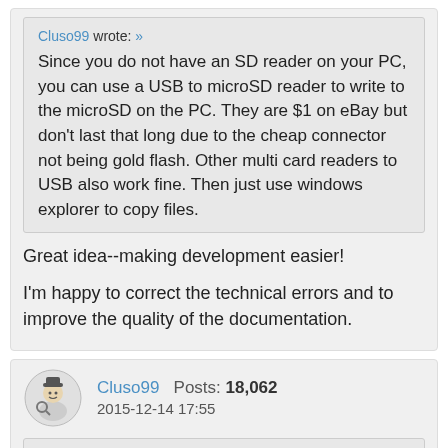Cluso99 wrote: » Since you do not have an SD reader on your PC, you can use a USB to microSD reader to write to the microSD on the PC. They are $1 on eBay but don't last that long due to the cheap connector not being gold flash. Other multi card readers to USB also work fine. Then just use windows explorer to copy files.
Great idea--making development easier!
I'm happy to correct the technical errors and to improve the quality of the documentation.
Cluso99   Posts: 18,062   2015-12-14 17:55
pidzero wrote: » show previous quotes